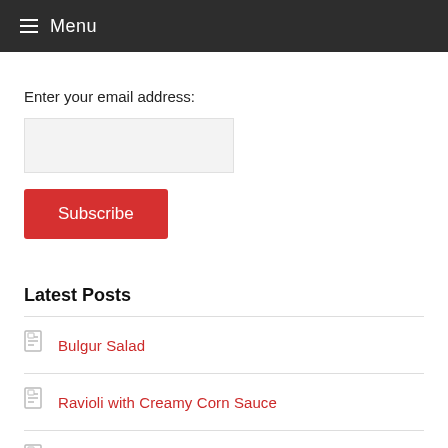≡ Menu
Enter your email address:
Latest Posts
Bulgur Salad
Ravioli with Creamy Corn Sauce
Easy Grilled Sea Bass
About Linda